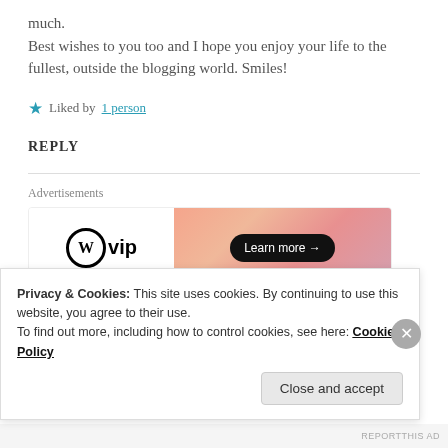much. Best wishes to you too and I hope you enjoy your life to the fullest, outside the blogging world. Smiles!
★ Liked by 1 person
REPLY
[Figure (screenshot): WordPress VIP advertisement banner with Learn more button on gradient background]
Privacy & Cookies: This site uses cookies. By continuing to use this website, you agree to their use. To find out more, including how to control cookies, see here: Cookie Policy
Close and accept